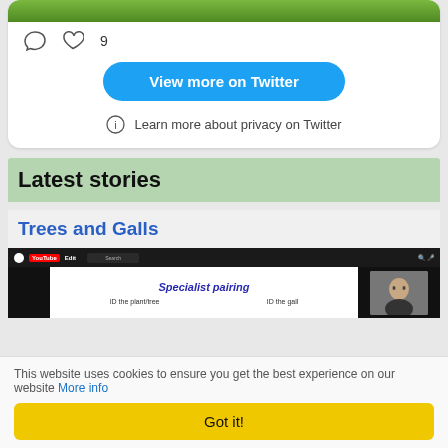[Figure (screenshot): Top of a Twitter embed card showing a green plant image and social action icons (comment, heart with 9 likes)]
View more on Twitter
Learn more about privacy on Twitter
Latest stories
Trees and Galls
[Figure (screenshot): YouTube screenshot showing a presentation slide titled 'Specialist pairing' with two columns: 'ID the plant/tree' and 'ID the gall', with a speaker thumbnail in top right corner]
This website uses cookies to ensure you get the best experience on our website More info
Got it!